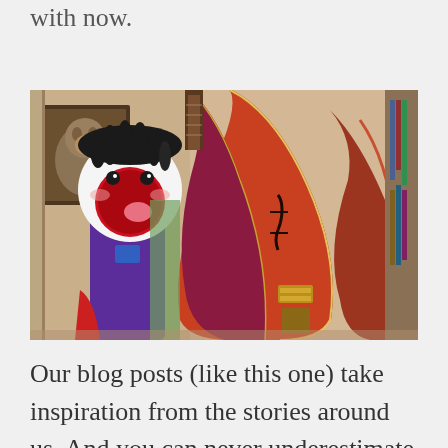with now.
[Figure (photo): A puppet/stuffed doll with black yarn hair, white face with large red round mouth, wearing a purple outfit, positioned in front of large acoustic guitars including a red-orange archtop guitar with f-holes, in an indoor setting with artwork on the wall in the background.]
Our blog posts (like this one) take inspiration from the stories around us. And you can never underestimate the power of a good